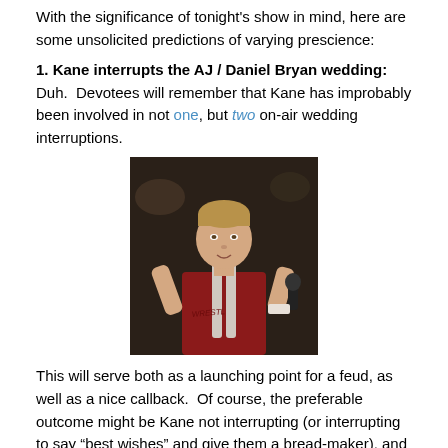With the significance of tonight's show in mind, here are some unsolicited predictions of varying prescience:
1. Kane interrupts the AJ / Daniel Bryan wedding: Duh.  Devotees will remember that Kane has improbably been involved in not one, but two on-air wedding interruptions.
[Figure (photo): Photo of a young male professional wrestler with short light brown hair, wearing a red and white wrestling outfit, holding a microphone, photographed against a dark arena background.]
This will serve both as a launching point for a feud, as well as a nice callback.  Of course, the preferable outcome might be Kane not interrupting (or interrupting to say “best wishes” and give them a bread-maker), and then Bryan